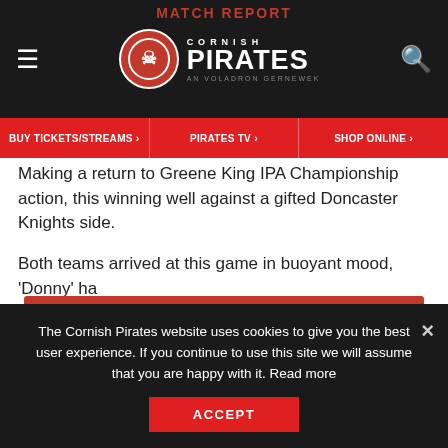MATCH REPORT
[Figure (logo): Cornish Pirates logo with skull and crossbones emblem, text CORNISH PIRATES AN VOLADRON GERNEWEK]
BUY TICKETS/STREAMS > | PIRATES TV > | SHOP ONLINE >
Making a return to Greene King IPA Championship action, this winning well against a gifted Doncaster Knights side.
Both teams arrived at this game in buoyant mood, 'Donny' ha... CH... wh... the Cup away to Hartpury RFC and home to Ulster A.
[Figure (infographic): Red promotional banner: READ DONCASTER KNIGHTS 29 CORNISH PIRATES 46 MATCH REPORT]
Doncaster Knights had finished fourth in the league last season, although it will be remembered that the Pirates (who ultimately finished sixth) emerged victors from their two
The Cornish Pirates website uses cookies to give you the best user experience. If you continue to use this site we will assume that you are happy with it. Read more
ACCEPT